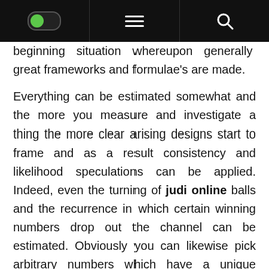[Navigation bar with toggle, hamburger menu, and search icon]
beginning situation whereupon generally great frameworks and formulae’s are made.

Everything can be estimated somewhat and the more you measure and investigate a thing the more clear arising designs start to frame and as a result consistency and likelihood speculations can be applied. Indeed, even the turning of judi online balls and the recurrence in which certain winning numbers drop out the channel can be estimated. Obviously you can likewise pick arbitrary numbers which have a unique importance for you, however at that point your back to depending on nothing but karma, which tragically doesn’t have an incredible record. The possibilities…